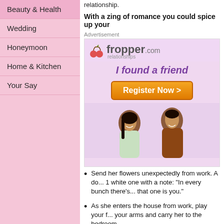Beauty & Health
Wedding
Honeymoon
Home & Kitchen
Your Say
relationship.
With a zing of romance you could spice up your
Advertisement
[Figure (illustration): Fropper.com relationships advertisement banner showing a smiling couple and a 'Register Now' button with the tagline 'I found a friend']
Send her flowers unexpectedly from work. A do... 1 white one with a note: "In every bunch there's... that one is you."
As she enters the house from work, play your f... your arms and carry her to the bedroom.
Just give her bare hugs and kisses for no reaso...